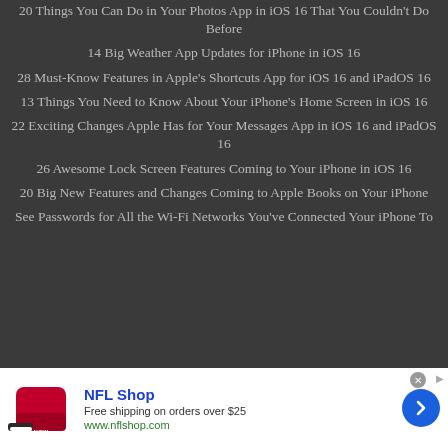20 Things You Can Do in Your Photos App in iOS 16 That You Couldn't Do Before
14 Big Weather App Updates for iPhone in iOS 16
28 Must-Know Features in Apple's Shortcuts App for iOS 16 and iPadOS 16
13 Things You Need to Know About Your iPhone's Home Screen in iOS 16
22 Exciting Changes Apple Has for Your Messages App in iOS 16 and iPadOS 16
26 Awesome Lock Screen Features Coming to Your iPhone in iOS 16
20 Big New Features and Changes Coming to Apple Books on Your iPhone
See Passwords for All the Wi-Fi Networks You've Connected Your iPhone To
[Figure (other): NFL Shop advertisement banner with red football helmet image, NFL Shop title, 'Free shipping on orders over $25', www.nflshop.com URL, SHOP NOW button, and a blue arrow button]